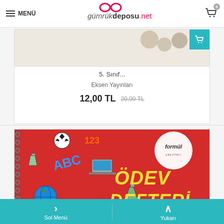MENÜ | gümrükdeposu.net | Cart: 0
[Figure (screenshot): Product card showing book image with shopping cart button]
5. Sınıf...
Eksen Yayınları
12,00 TL  20,00 TL
[Figure (photo): Red book cover with 'ÖDEV DEFTERİ' text and Formül Yayınları logo, with educational stickers (ABC, 123, globe, soccer ball, laptop)]
› Sol Menü   ^ Yukarı